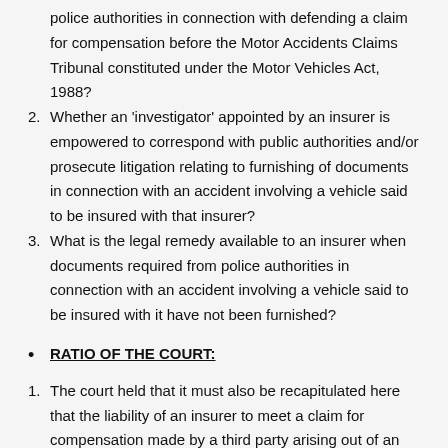police authorities in connection with defending a claim for compensation before the Motor Accidents Claims Tribunal constituted under the Motor Vehicles Act, 1988?
Whether an 'investigator' appointed by an insurer is empowered to correspond with public authorities and/or prosecute litigation relating to furnishing of documents in connection with an accident involving a vehicle said to be insured with that insurer?
What is the legal remedy available to an insurer when documents required from police authorities in connection with an accident involving a vehicle said to be insured with it have not been furnished?
RATIO OF THE COURT:
The court held that it must also be recapitulated here that the liability of an insurer to meet a claim for compensation made by a third party arising out of an